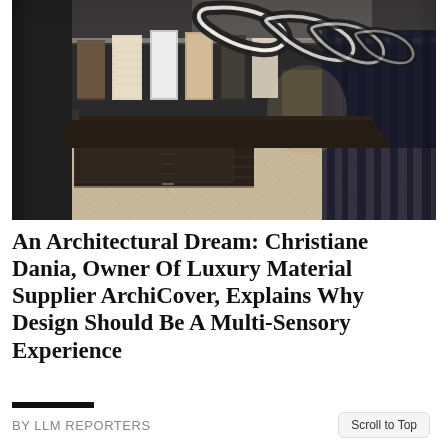[Figure (photo): Interior of a luxury architectural materials showroom featuring a long dark wooden counter/island, herringbone pattern light wood floor, dark grey walls with material sample panels mounted on them, and dramatic serpentine/wave-shaped white LED ring light fixtures hanging from the ceiling.]
An Architectural Dream: Christiane Dania, Owner Of Luxury Material Supplier ArchiCover, Explains Why Design Should Be A Multi-Sensory Experience
BY LLM REPORTERS